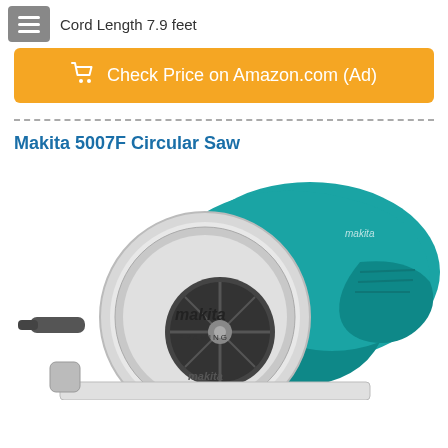Cord Length 7.9 feet
Check Price on Amazon.com (Ad)
Makita 5007F Circular Saw
[Figure (photo): Photo of a Makita 5007F circular saw with teal/turquoise housing and silver blade guard, showing 'makita' branding and 'FRAMING' label on the blade guard. The saw is photographed from a front-left angle on a white background.]